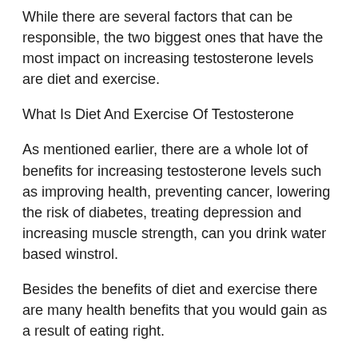While there are several factors that can be responsible, the two biggest ones that have the most impact on increasing testosterone levels are diet and exercise.
What Is Diet And Exercise Of Testosterone
As mentioned earlier, there are a whole lot of benefits for increasing testosterone levels such as improving health, preventing cancer, lowering the risk of diabetes, treating depression and increasing muscle strength, can you drink water based winstrol.
Besides the benefits of diet and exercise there are many health benefits that you would gain as a result of eating right.
Here are some of them which people who